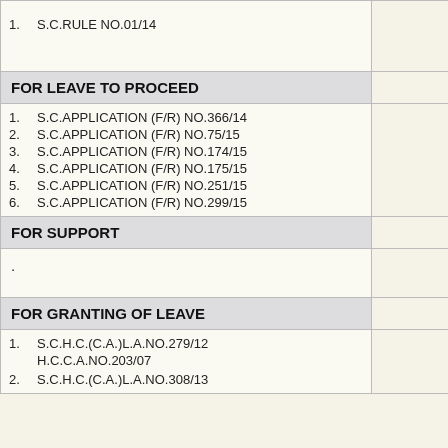1. S.C.RULE NO.01/14
FOR LEAVE TO PROCEED
1. S.C.APPLICATION (F/R) NO.366/14
2. S.C.APPLICATION (F/R) NO.75/15
3. S.C.APPLICATION (F/R) NO.174/15
4. S.C.APPLICATION (F/R) NO.175/15
5. S.C.APPLICATION (F/R) NO.251/15
6. S.C.APPLICATION (F/R) NO.299/15
FOR SUPPORT
.
FOR GRANTING OF LEAVE
1. S.C.H.C.(C.A.)L.A.NO.279/12 H.C.C.A.NO.203/07
2. S.C.H.C.(C.A.)L.A.NO.308/13